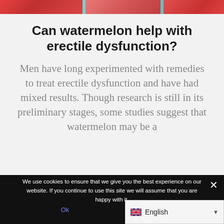[Figure (photo): Watermelon close-up photo strip across top of page]
Can watermelon help with erectile dysfunction?
Men have long experimented with remedies to treat erectile dysfunction and have had mixed results. Though research is still in its preliminary stages, some studies suggest that watermelon may be a
We use cookies to ensure that we give you the best experience on our website. If you continue to use this site we will assume that you are happy with it.
Ok
English